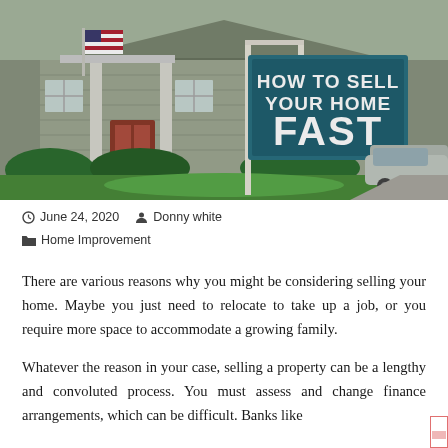[Figure (photo): Photo of a suburban house with a real estate sign reading HOW TO SELL YOUR HOME FAST on a teal/dark green background with white text. American flag visible on the porch. A car is parked in the driveway.]
June 24, 2020   Donny white   Home Improvement
There are various reasons why you might be considering selling your home. Maybe you just need to relocate to take up a job, or you require more space to accommodate a growing family.
Whatever the reason in your case, selling a property can be a lengthy and convoluted process. You must assess and change finance arrangements, which can be difficult. Banks like